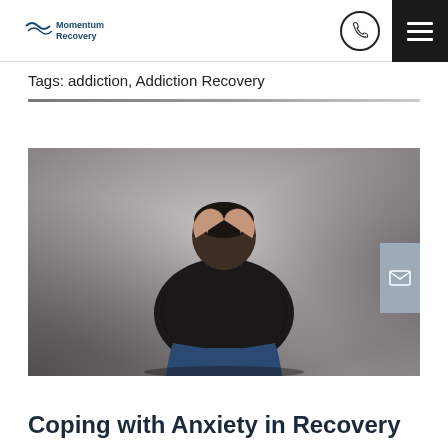Momentum Recovery
Tags: addiction, Addiction Recovery
[Figure (photo): A person in distress sitting with hands covering their face, wearing dark clothing and jeans, against a grey background]
Coping with Anxiety in Recovery